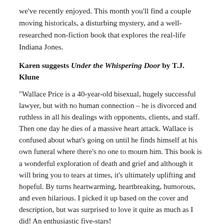we've recently enjoyed. This month you'll find a couple moving historicals, a disturbing mystery, and a well-researched non-fiction book that explores the real-life Indiana Jones.
Karen suggests Under the Whispering Door by T.J. Klune
“Wallace Price is a 40-year-old bisexual, hugely successful lawyer, but with no human connection – he is divorced and ruthless in all his dealings with opponents, clients, and staff.  Then one day he dies of a massive heart attack. Wallace is confused about what’s going on until he finds himself at his own funeral where there’s no one to mourn him. This book is a wonderful exploration of death and grief and although it will bring you to tears at times, it’s ultimately uplifting and hopeful.  By turns heartwarming, heartbreaking, humorous, and even hilarious. I picked it up based on the cover and description, but was surprised to love it quite as much as I did!  An enthusiastic five-stars!